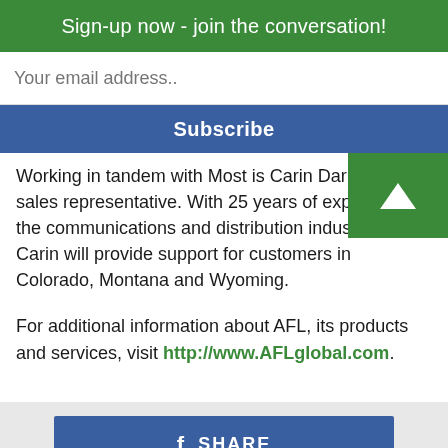Sign-up now - join the conversation!
Your email address..
Subscribe
Working in tandem with Most is Carin Darr, outside sales representative. With 25 years of experience in the communications and distribution industries, Carin will provide support for customers in Colorado, Montana and Wyoming.
For additional information about AFL, its products and services, visit http://www.AFLglobal.com.
f SHARE
TWEET